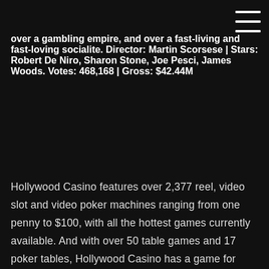over a gambling empire, and over a fast-living and fast-loving socialite. Director: Martin Scorsese | Stars: Robert De Niro, Sharon Stone, Joe Pesci, James Woods. Votes: 468,168 | Gross: $42.44M
Hollywood Casino features over 2,377 reel, video slot and video poker machines ranging from one penny to $100, with all the hottest games currently available. And with over 50 table games and 17 poker tables, Hollywood Casino has a game for everyone. Play with your mychoice® card and earn tier points and mycash® to be redeemed throughout the Play Free Slot-Style Social Casino Games at HollywoodCasino.com. These games are intended for use only by those 21 or older, and only for amusement